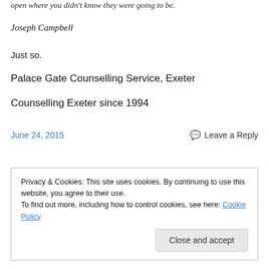open where you didn't know they were going to be.
Joseph Campbell
Just so.
Palace Gate Counselling Service, Exeter
Counselling Exeter since 1994
June 24, 2015
Leave a Reply
Privacy & Cookies: This site uses cookies. By continuing to use this website, you agree to their use.
To find out more, including how to control cookies, see here: Cookie Policy
Close and accept